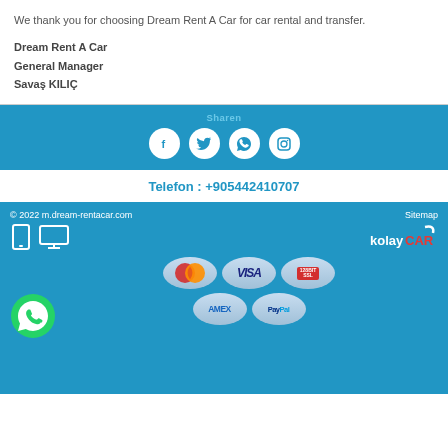We thank you for choosing Dream Rent A Car for car rental and transfer.
Dream Rent A Car
General Manager
Savaş KILIÇ
[Figure (infographic): Share section with blue background showing 'Sharen' label and four social media icons: Facebook, Twitter, WhatsApp, Instagram in white circles]
Telefon : +905442410707
© 2022 m.dream-rentacar.com    Sitemap
[Figure (infographic): Footer with device icons (mobile and desktop), kolayCAR logo, payment method badges (MasterCard, VISA, 128BIT SSL, AMEX, PayPal), and WhatsApp floating icon]